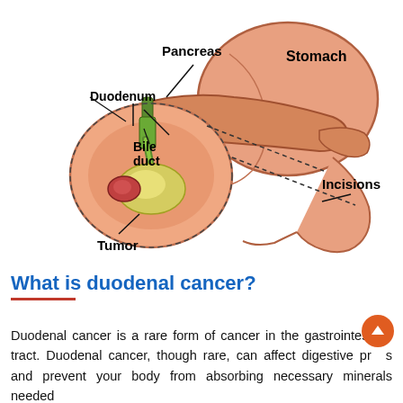[Figure (illustration): Medical illustration of the duodenal region showing labeled anatomical structures: Pancreas, Duodenum, Bile duct, Stomach, Incisions, and Tumor. The pancreas and stomach are shown in salmon/peach color, the bile duct in green, and a yellow tumor mass is visible near the junction of duodenum and bile duct. Dashed lines indicate incision paths.]
What is duodenal cancer?
Duodenal cancer is a rare form of cancer in the gastrointestinal tract. Duodenal cancer, though rare, can affect digestive processes and prevent your body from absorbing necessary minerals needed